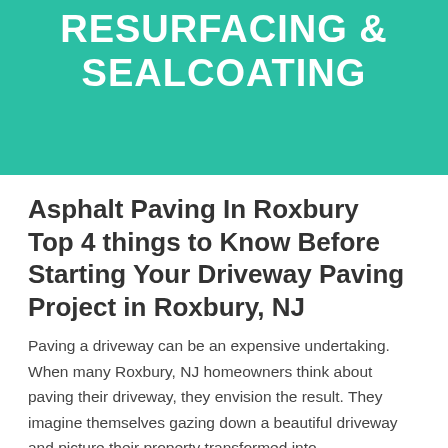[Figure (illustration): Teal/green banner background with bold white uppercase text reading 'RESURFACING & SEALCOATING']
Asphalt Paving In Roxbury Top 4 things to Know Before Starting Your Driveway Paving Project in Roxbury, NJ
Paving a driveway can be an expensive undertaking. When many Roxbury, NJ homeowners think about paving their driveway, they envision the result. They imagine themselves gazing down a beautiful driveway and picture their property transformed into